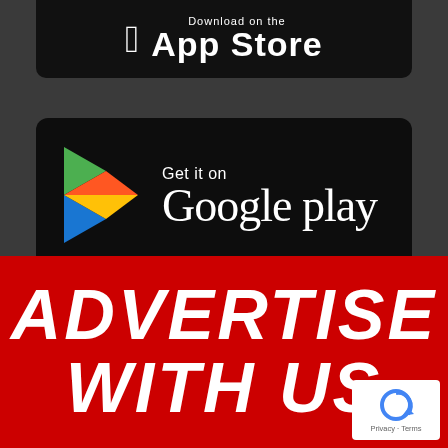[Figure (screenshot): App Store button (partially visible, cropped at top) with Apple logo and 'App Store' text on black background]
[Figure (screenshot): Google Play store badge with colorful triangular play logo and text 'Get it on Google Play' on black rounded rectangle background]
ADVERTISE WITH US
[Figure (logo): reCAPTCHA badge with blue circular arrow icon, Privacy and Terms links]